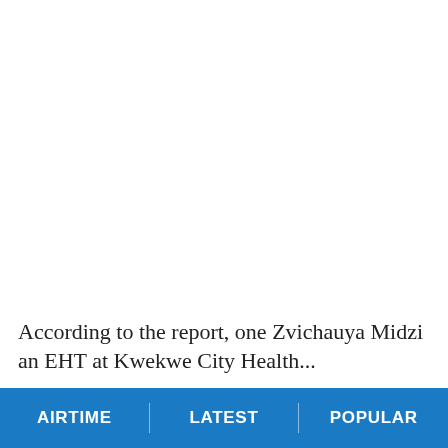According to the report, one Zvichauya Midzi an EHT at Kwekwe City Health...
AIRTIME | LATEST | POPULAR